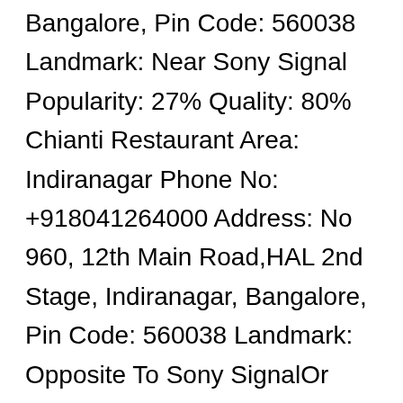Bangalore, Pin Code: 560038 Landmark: Near Sony Signal Popularity: 27% Quality: 80% Chianti Restaurant Area: Indiranagar Phone No: +918041264000 Address: No 960, 12th Main Road,HAL 2nd Stage, Indiranagar, Bangalore, Pin Code: 560038 Landmark: Opposite To Sony SignalOr Next To Golds … Our easy-to-use app shows you all the restaurants and nightlife options in your city, along with menus, photos, and reviews. Grazie Ristorante. Our easy-to-use app shows you all the restaurants and nightlife options in your city, along with menus, photos, and reviews. Zomato is the best way to discover great places to eat in your city. The trendy hip vibe of